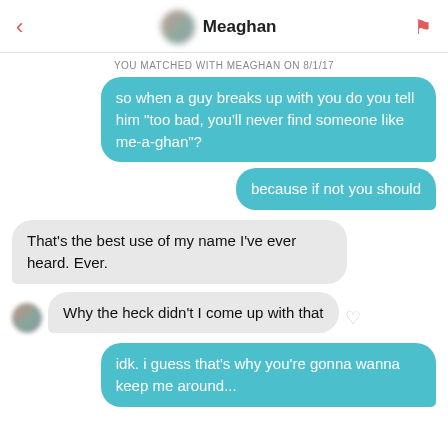Meaghan
YOU MATCHED WITH MEAGHAN ON 8/1/17
so when a guy breaks up with you do you tell him "too bad, you'll never find someone like me-a-ghan"?
because if not you should
That's the best use of my name I've ever heard. Ever.
Why the heck didn't I come up with that
idk. i guess that's why you're gonna wanna keep me around...